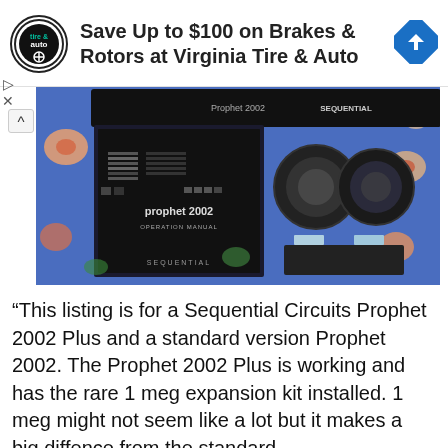[Figure (logo): Virginia Tire & Auto advertisement banner with circular tire & auto logo on left, text 'Save Up to $100 on Brakes & Rotors at Virginia Tire & Auto' in center, blue diamond road sign icon on right]
[Figure (photo): Photo of Sequential Circuits Prophet 2002 synthesizer operation manual (black book), synth hardware in top, and two black cable coils on a floral patterned fabric background]
“This listing is for a Sequential Circuits Prophet 2002 Plus and a standard version Prophet 2002. The Prophet 2002 Plus is working and has the rare 1 meg expansion kit installed. 1 meg might not seem like a lot but it makes a big diffence from the standard